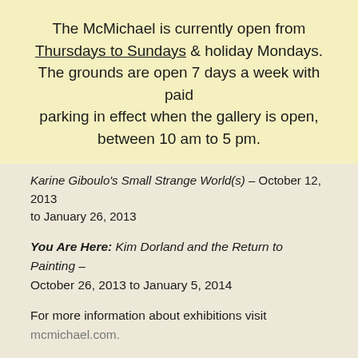The McMichael is currently open from Thursdays to Sundays & holiday Mondays. The grounds are open 7 days a week with paid parking in effect when the gallery is open, between 10 am to 5 pm.
Karine Giboulo's Small Strange World(s) – October 12, 2013 to January 26, 2013
You Are Here: Kim Dorland and the Return to Painting – October 26, 2013 to January 5, 2014
For more information about exhibitions visit mcmichael.com.
About the McMichael Canadian Art Collection
The McMichael Canadian Art Collection is an agency of the Government of Ontario and acknowledges the support of